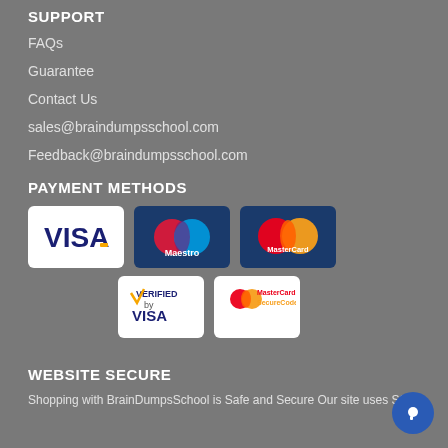SUPPORT
FAQs
Guarantee
Contact Us
sales@braindumpsschool.com
Feedback@braindumpsschool.com
PAYMENT METHODS
[Figure (logo): Payment method logos: Visa, Maestro, MasterCard, Verified by Visa, MasterCard SecureCode]
WEBSITE SECURE
Shopping with BrainDumpsSchool is Safe and Secure Our site uses SSL